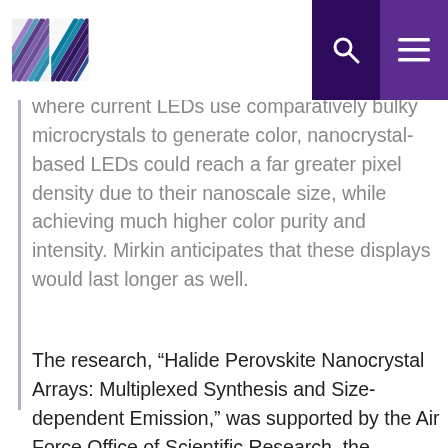IIN [logo] [search icon] [menu icon]
where current LEDs use comparatively bulky microcrystals to generate color, nanocrystal-based LEDs could reach a far greater pixel density due to their nanoscale size, while achieving much higher color purity and intensity. Mirkin anticipates that these displays would last longer as well.
The research, “Halide Perovskite Nanocrystal Arrays: Multiplexed Synthesis and Size-dependent Emission,” was supported by the Air Force Office of Scientific Research, the Sherman Fairchild Foundation, and the National Science Foundation. Donghoon Shin, Teodor K. Staney, Chiara Musumeci, Zhuang Xie